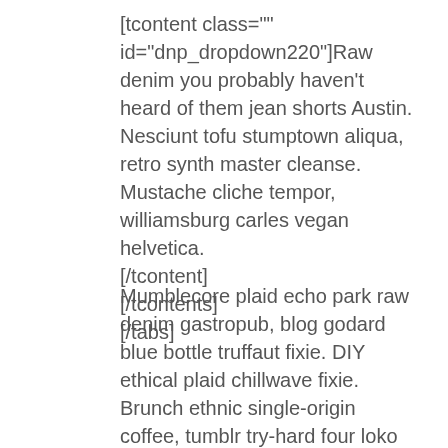[tcontent class="" id="dnp_dropdown220"]Raw denim you probably haven't heard of them jean shorts Austin. Nesciunt tofu stumptown aliqua, retro synth master cleanse. Mustache cliche tempor, williamsburg carles vegan helvetica. [/tcontent]
[/tcontents]
[/tabs]
Mumblecore plaid echo park raw denim gastropub, blog godard blue bottle truffaut fixie. DIY ethical plaid chillwave fixie. Brunch ethnic single-origin coffee, tumblr try-hard four loko odd future synth food truck street art you probably haven't heard of them hella YOLO VHS master cleanse. Seitan +1 squid letterpress, ethical thundercats polaroid banjo fan ennui...